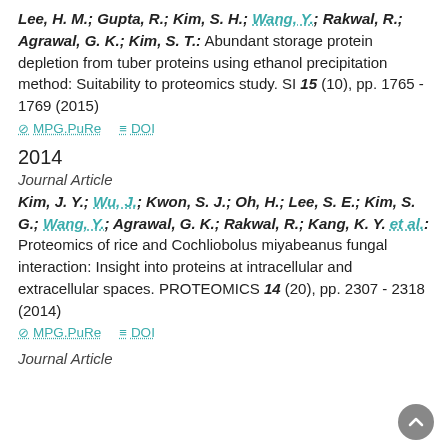Lee, H. M.; Gupta, R.; Kim, S. H.; Wang, Y.; Rakwal, R.; Agrawal, G. K.; Kim, S. T.: Abundant storage protein depletion from tuber proteins using ethanol precipitation method: Suitability to proteomics study. SI 15 (10), pp. 1765 - 1769 (2015)
MPG.PuRe  DOI
2014
Journal Article
Kim, J. Y.; Wu, J.; Kwon, S. J.; Oh, H.; Lee, S. E.; Kim, S. G.; Wang, Y.; Agrawal, G. K.; Rakwal, R.; Kang, K. Y. et al.: Proteomics of rice and Cochliobolus miyabeanus fungal interaction: Insight into proteins at intracellular and extracellular spaces. PROTEOMICS 14 (20), pp. 2307 - 2318 (2014)
MPG.PuRe  DOI
Journal Article